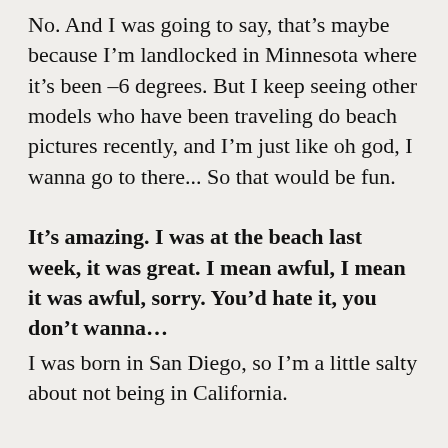No. And I was going to say, that's maybe because I'm landlocked in Minnesota where it's been –6 degrees. But I keep seeing other models who have been traveling do beach pictures recently, and I'm just like oh god, I wanna go to there... So that would be fun.
It's amazing. I was at the beach last week, it was great. I mean awful, I mean it was awful, sorry. You'd hate it, you don't wanna…
I was born in San Diego, so I'm a little salty about not being in California.